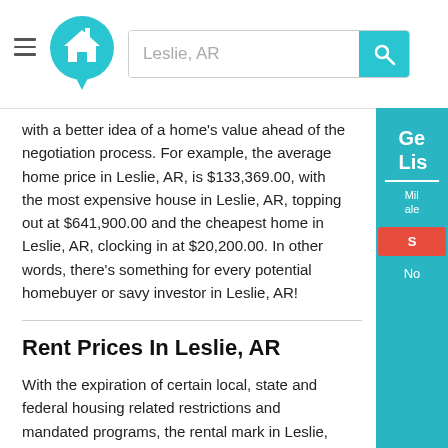[Figure (screenshot): Website header with hamburger menu icon, teal home logo/pin icon, search bar showing 'Leslie, AR', and teal search button with magnifying glass icon]
with a better idea of a home's value ahead of the negotiation process. For example, the average home price in Leslie, AR, is $133,369.00, with the most expensive house in Leslie, AR, topping out at $641,900.00 and the cheapest home in Leslie, AR, clocking in at $20,200.00. In other words, there's something for every potential homebuyer or savy investor in Leslie, AR!
Rent Prices In Leslie, AR
With the expiration of certain local, state and federal housing related restrictions and mandated programs, the rental market in Leslie, AR, is on a rollercoaster ride. The average rent price in Leslie, AR, is $881.00. Indeed, when looking to rent in Leslie, AR, you can expect to pay as little as $520.00 or as much as $1,820.00, with the average rent median estimated to be $820.00. The good news is that finding an affordable and desirable property to rent in Leslie, AR -- whether it's apartments, townhomes, condominiums or single-family homes -- is made easier with knowledge of the local market and, of